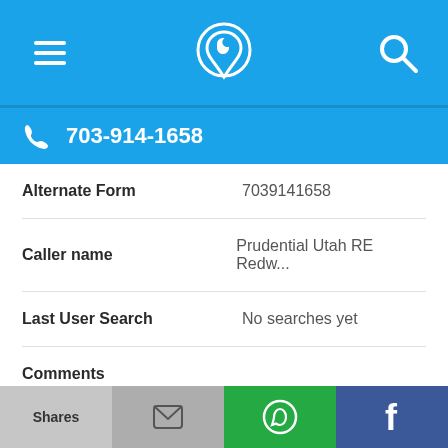Navigation bar with menu, phone/location icon, and search icon
703-914-1658
| Field | Value |
| --- | --- |
| Alternate Form | 7039141658 |
| Caller name | Prudential Utah RE Redw... |
| Last User Search | No searches yet |
| Comments |  |
703-914-1614
Shares | [email icon] | [WhatsApp icon] | [Facebook icon]